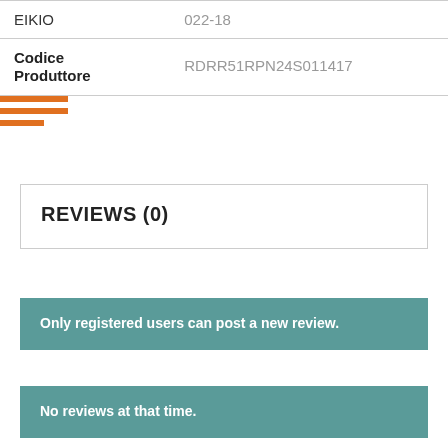|  |  |
| --- | --- |
| EIKIO | 022-18 |
| Codice Produttore | RDRR51RPN24S011417 |
REVIEWS (0)
Only registered users can post a new review.
No reviews at that time.
When you visit any website, it may store or retrieve information on your browser, mostly in the form of 'cookies'. This information, which might be about you, your preferences, or your internet device (computer, tablet or mobile), is mostly used to make the site work as you expect it to.